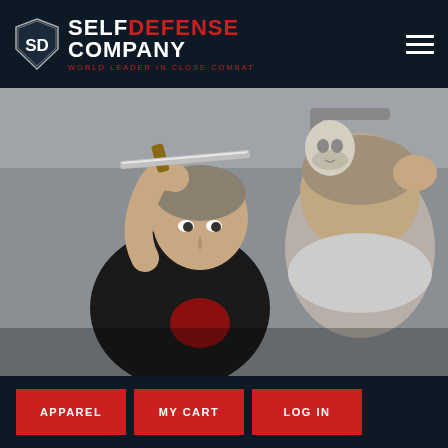[Figure (logo): Self Defense Company logo with shield emblem, text 'SELF DEFENSE COMPANY' and tagline 'WORLD LEADER IN CLOSE COMBAT' on dark navy header background, plus hamburger menu icon on right]
[Figure (photo): Close-up action photo of a man holding a knife/blade horizontally near another person's head in a self-defense training demonstration. Indoor setting with gray walls.]
APPAREL
MY CART
LOG IN